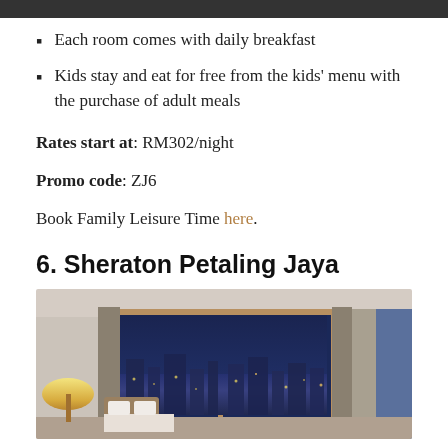Each room comes with daily breakfast
Kids stay and eat for free from the kids' menu with the purchase of adult meals
Rates start at: RM302/night
Promo code: ZJ6
Book Family Leisure Time here.
6. Sheraton Petaling Jaya
[Figure (photo): Hotel room interior with large windows overlooking a night city skyline, warm lamp on the left, curtains, and a bed]